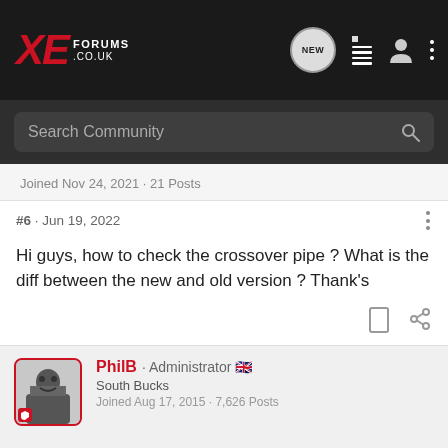XE FORUMS.CO.UK
Search Community
Joined Nov 24, 2021 · 21 Posts
#6 · Jun 19, 2022
Hi guys, how to check the crossover pipe ? What is the diff between the new and old version ? Thank's
PhilB · Administrator 🇬🇧
South Bucks
Joined Aug 17, 2015 · 7,626 Posts